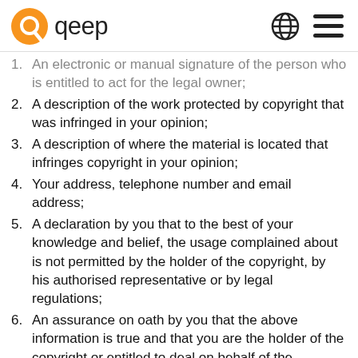qeep
1. An electronic or manual signature of the person who is entitled to act for the legal owner;
2. A description of the work protected by copyright that was infringed in your opinion;
3. A description of where the material is located that infringes copyright in your opinion;
4. Your address, telephone number and email address;
5. A declaration by you that to the best of your knowledge and belief, the usage complained about is not permitted by the holder of the copyright, by his authorised representative or by legal regulations;
6. An assurance on oath by you that the above information is true and that you are the holder of the copyright or entitled to deal on behalf of the copyright holder.